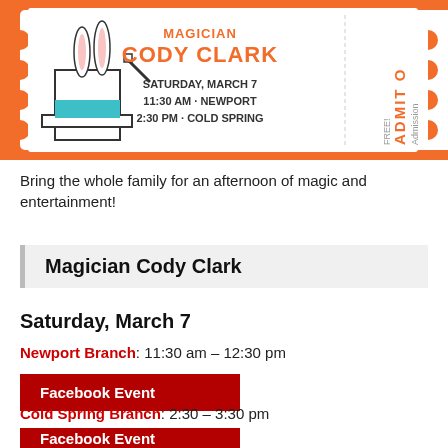[Figure (illustration): Colorful event ticket/flyer for Magician Cody Clark on Saturday March 7, showing 11:30 AM Newport and 2:30 PM Cold Spring, with a rabbit-in-hat magic illustration and an orange admit-one ticket design]
Bring the whole family for an afternoon of magic and entertainment!
Magician Cody Clark
Saturday, March 7
Newport Branch: 11:30 am – 12:30 pm
Facebook Event
Cold Spring Branch: 2:30 – 3:30 pm
Facebook Event